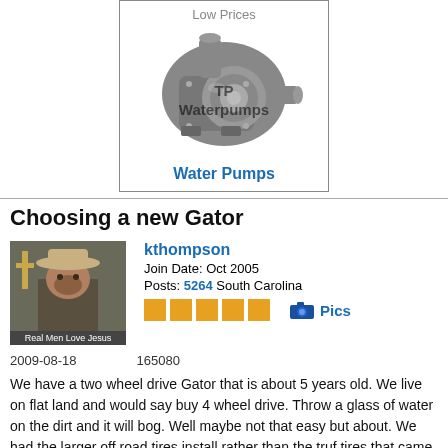[Figure (photo): Advertisement box showing a water pump part with 'Low Prices' text, 'TP Waterpumps' watermark overlay, and 'Water Pumps' blue link text below]
Choosing a new Gator
[Figure (photo): Forum user avatar: man in cowboy hat with a cross, caption reads 'Real Men Love Jesus']
kthompson
Join Date: Oct 2005
Posts: 5264 South Carolina
2009-08-18    165080
We have a two wheel drive Gator that is about 5 years old. We live on flat land and would say buy 4 wheel drive. Throw a glass of water on the dirt and it will bog. Well maybe not that easy but about. We had the larger off road tires install rather than the truf tires that came on it at that time. Glad we did. No idea if they have improved the